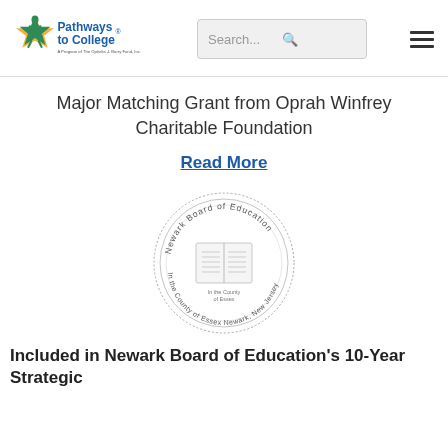Pathways to College — A Program of The Ophelia J. Barry Fund, Inc. [Search bar] [Menu]
Major Matching Grant from Oprah Winfrey Charitable Foundation
Read More
[Figure (illustration): Newark Board of Education official circular seal showing an open book in the center, with the text 'Newark Board of Education' around the top arc and 'In the County of Essex, Newark, New Jersey' around the bottom arc, decorated with dotted border.]
Included in Newark Board of Education's 10-Year Strategic